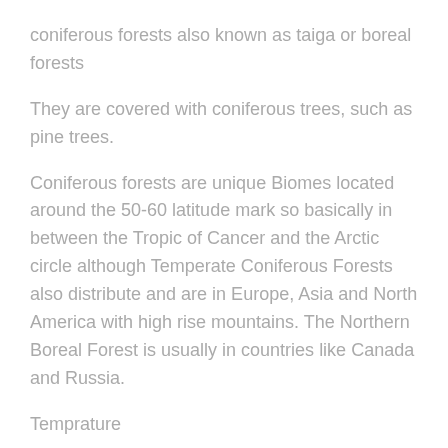coniferous forests also known as taiga or boreal forests
They are covered with coniferous trees, such as pine trees.
Coniferous forests are unique Biomes located around the 50-60 latitude mark so basically in between the Tropic of Cancer and the Arctic circle although Temperate Coniferous Forests also distribute and are in Europe, Asia and North America with high rise mountains. The Northern Boreal Forest is usually in countries like Canada and Russia.
Temprature